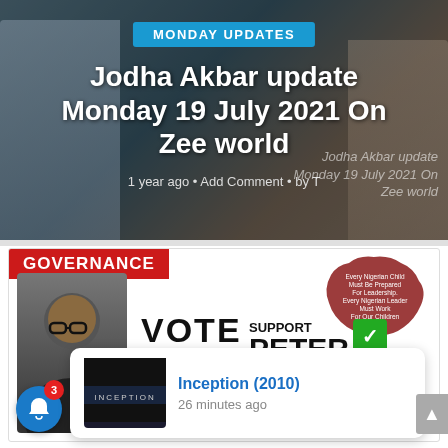MONDAY UPDATES
Jodha Akbar update Monday 19 July 2021 On Zee world
1 year ago • Add Comment • by T
Jodha Akbar update Monday 19 July 2021 On Zee world
[Figure (photo): Political campaign image: person in black shirt with GOVERNANCE banner, VOTE text with party logo, SUPPORT PETER OBI text and Nigeria map graphic]
Inception (2010)
26 minutes ago